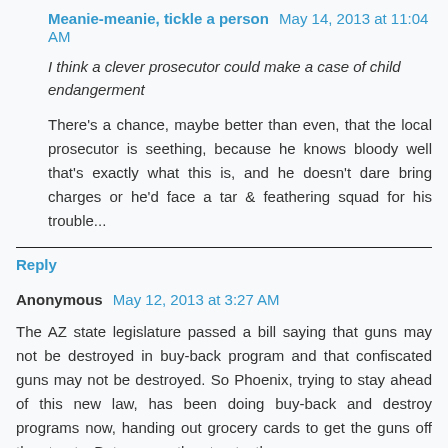Meanie-meanie, tickle a person May 14, 2013 at 11:04 AM
I think a clever prosecutor could make a case of child endangerment
There's a chance, maybe better than even, that the local prosecutor is seething, because he knows bloody well that's exactly what this is, and he doesn't dare bring charges or he'd face a tar & feathering squad for his trouble...
Reply
Anonymous May 12, 2013 at 3:27 AM
The AZ state legislature passed a bill saying that guns may not be destroyed in buy-back program and that confiscated guns may not be destroyed. So Phoenix, trying to stay ahead of this new law, has been doing buy-back and destroy programs now, handing out grocery cards to get the guns off the streets. But now, on the streets, they...